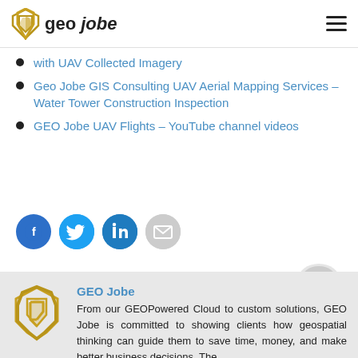geo jobe
with UAV Collected Imagery
Geo Jobe GIS Consulting UAV Aerial Mapping Services – Water Tower Construction Inspection
GEO Jobe UAV Flights – YouTube channel videos
[Figure (infographic): Social share icons: Facebook (blue circle), Twitter (light blue circle), LinkedIn (dark blue circle), Email (grey circle with envelope)]
[Figure (illustration): Chat bubble icon in grey]
[Figure (logo): GEO Jobe gold angular logo mark]
GEO Jobe
From our GEOPowered Cloud to custom solutions, GEO Jobe is committed to showing clients how geospatial thinking can guide them to save time, money, and make better business decisions. The